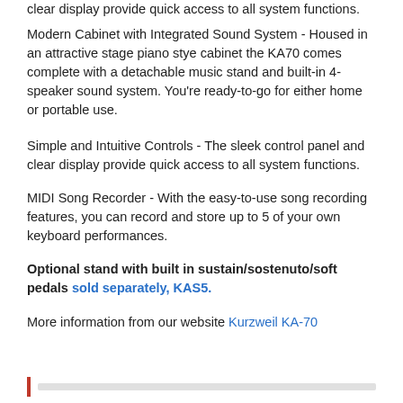clear display provide quick access to all system functions.
Modern Cabinet with Integrated Sound System - Housed in an attractive stage piano stye cabinet the KA70 comes complete with a detachable music stand and built-in 4-speaker sound system. You're ready-to-go for either home or portable use.
Simple and Intuitive Controls - The sleek control panel and clear display provide quick access to all system functions.
MIDI Song Recorder - With the easy-to-use song recording features, you can record and store up to 5 of your own keyboard performances.
Optional stand with built in sustain/sostenuto/soft pedals sold separately, KAS5.
More information from our website Kurzweil KA-70